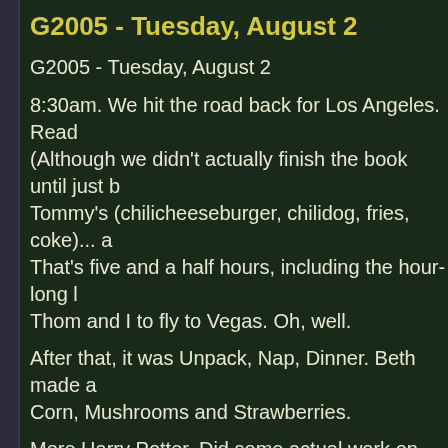G2005 - Tuesday, August 2
G2005 - Tuesday, August 2
8:30am. We hit the road back for Los Angeles. Read (Although we didn't actually finish the book until just b Tommy's (chilicheeseburger, chilidog, fries, coke)... a That's five and a half hours, including the hour-long l Thom and I to fly to Vegas. Oh, well.
After that, it was Unpack, Nap, Dinner. Beth made a Corn, Mushrooms and Strawberries.
More Harry Potter. Did some actual work on W.I.T.C.
Then finally bed.
So ends my journal.
Please, everyone post your G2005 CONJOURNALS I've asked Gorebash to shut down the ASK GREG S August 31st. So before memories get even hazier, pl your experiences and cut and paste them here.
Thanks.